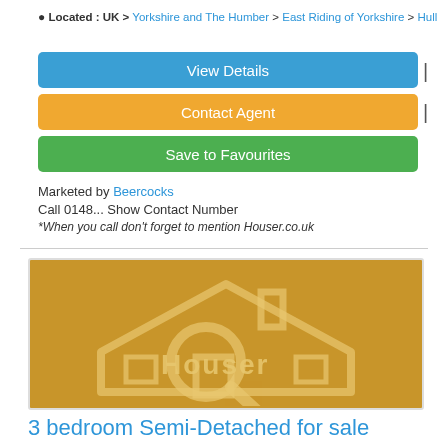Located : UK > Yorkshire and The Humber > East Riding of Yorkshire > Hull
View Details
Contact Agent
Save to Favourites
Marketed by Beercocks
Call 0148... Show Contact Number
*When you call don't forget to mention Houser.co.uk
[Figure (logo): Houser.co.uk logo — golden/yellow background with a house outline and search magnifier icon, text 'Houser' stylized inside]
3 bedroom Semi-Detached for sale